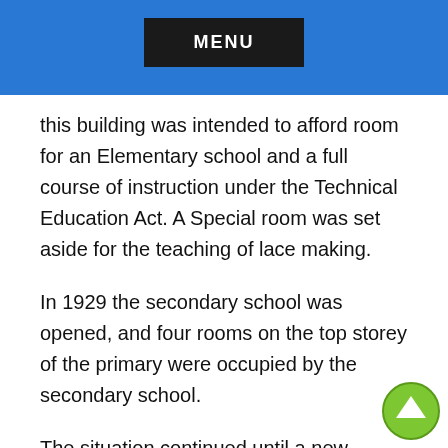MENU
this building was intended to afford room for an Elementary school and a full course of instruction under the Technical Education Act. A Special room was set aside for the teaching of lace making.
In 1929 the secondary school was opened, and four rooms on the top storey of the primary were occupied by the secondary school.
The situation continued until a new secondary school was built in 1963. On 1st April 1964 work commenced on the reconstruction of the primary school. The architect was Mrs. Mary O' Carroll,